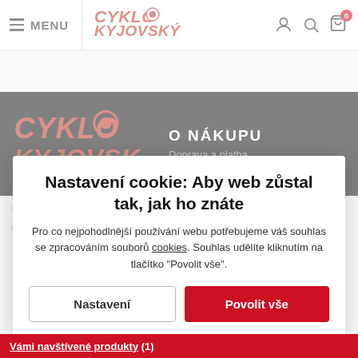≡ MENU | Cyklo Kyjovský — navigation header with user, search, cart icons
[Figure (screenshot): Dark banner with Cyklo Kyjovský logo on left and 'O NÁKUPU / Doprava a platba' navigation text on right]
Nastavení cookie: Aby web zůstal tak, jak ho znáte
Pro co nejpohodlnější používání webu potřebujeme váš souhlas se zpracováním souborů cookies. Souhlas udělíte kliknutím na tlačítko "Povolit vše".
Nastavení | Povolit vše
Vámi navštívené produkty (1)